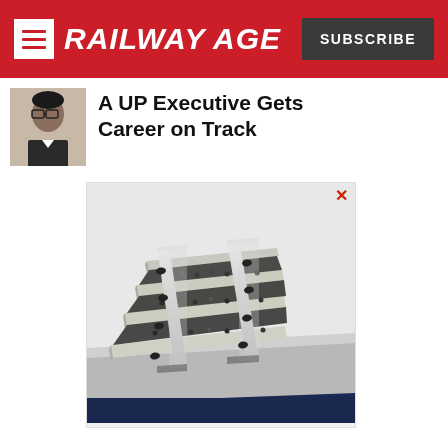RAILWAY AGE
A UP Executive Gets Career on Track
[Figure (illustration): 3D rendering of railway track cross-section showing rails, ties/sleepers, ballast and fastening clips in a detailed engineering illustration]